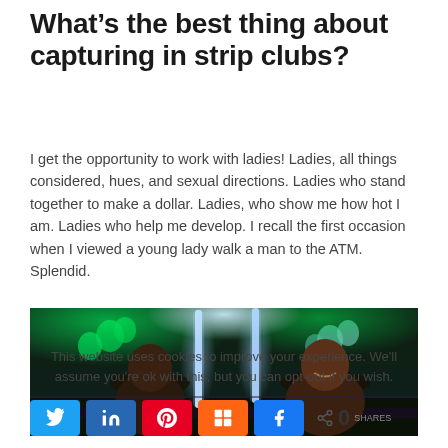What’s the best thing about capturing in strip clubs?
I get the opportunity to work with ladies! Ladies, all things considered, hues, and sexual directions. Ladies who stand together to make a dollar. Ladies, who show me how hot I am. Ladies who help me develop. I recall the first occasion when I viewed a young lady walk a man to the ATM. Splendid.
[Figure (photo): Two women holding glowing light sticks in a nightclub setting with green balloons and colorful lighting in the background]
This website uses cookies to improve your experience. We'll assume you're ok with this, but you can opt-out if you wish.
0 SHARES (social share buttons: Twitter, LinkedIn, Pinterest, Mix, Facebook)